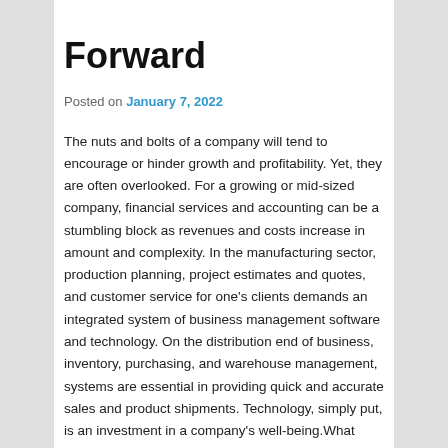Forward
Posted on January 7, 2022
The nuts and bolts of a company will tend to encourage or hinder growth and profitability. Yet, they are often overlooked. For a growing or mid-sized company, financial services and accounting can be a stumbling block as revenues and costs increase in amount and complexity. In the manufacturing sector, production planning, project estimates and quotes, and customer service for one’s clients demands an integrated system of business management software and technology. On the distribution end of business, inventory, purchasing, and warehouse management, systems are essential in providing quick and accurate sales and product shipments. Technology, simply put, is an investment in a company’s well-being.What Makes Quality Business Management Software?In order for new technology investments to provide short- and long-term value, the integration of that technology needs to happen seamlessly with a minimum